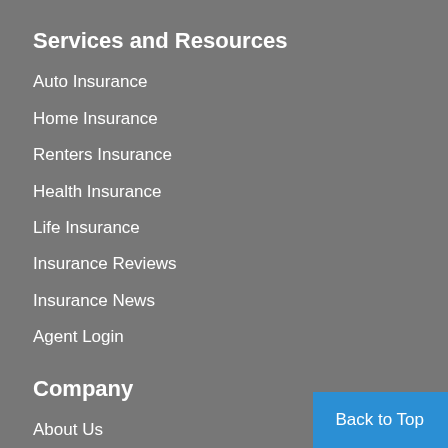Services and Resources
Auto Insurance
Home Insurance
Renters Insurance
Health Insurance
Life Insurance
Insurance Reviews
Insurance News
Agent Login
Company
About Us
Contact Us
Careers
Back to Top